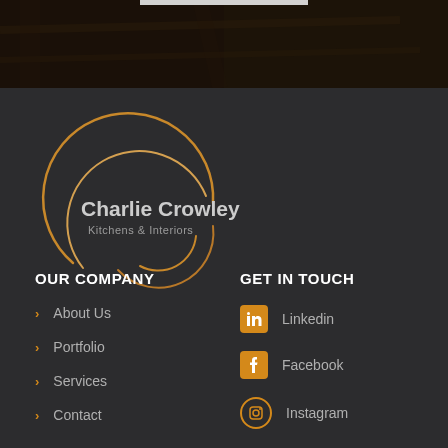[Figure (photo): Dark wood/kitchen interior photo spanning top of page]
[Figure (logo): Charlie Crowley Kitchens & Interiors logo with circular swirl design in gold/white on dark background]
OUR COMPANY
About Us
Portfolio
Services
Contact
GET IN TOUCH
Linkedin
Facebook
Instagram
Houzz